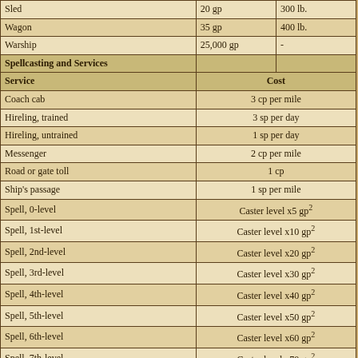| Service/Item | Cost | Weight |
| --- | --- | --- |
| Sled | 20 gp | 300 lb. |
| Wagon | 35 gp | 400 lb. |
| Warship | 25,000 gp | - |
| Spellcasting and Services |  |  |
| Service | Cost |  |
| Coach cab | 3 cp per mile |  |
| Hireling, trained | 3 sp per day |  |
| Hireling, untrained | 1 sp per day |  |
| Messenger | 2 cp per mile |  |
| Road or gate toll | 1 cp |  |
| Ship's passage | 1 sp per mile |  |
| Spell, 0-level | Caster level x5 gp² |  |
| Spell, 1st-level | Caster level x10 gp² |  |
| Spell, 2nd-level | Caster level x20 gp² |  |
| Spell, 3rd-level | Caster level x30 gp² |  |
| Spell, 4th-level | Caster level x40 gp² |  |
| Spell, 5th-level | Caster level x50 gp² |  |
| Spell, 6th-level | Caster level x60 gp² |  |
| Spell, 7th-level | Caster level x70 gp² |  |
| Spell, 8th-level | Caster level x80 gp² |  |
| Spell, 9th-level | Caster level x90 gp² |  |